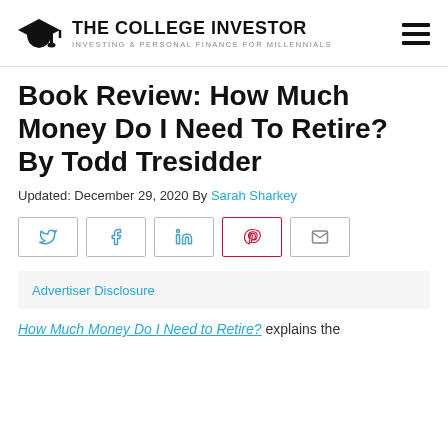THE COLLEGE INVESTOR — INVESTING & PERSONAL FINANCE FOR MILLENNIALS
Book Review: How Much Money Do I Need To Retire? By Todd Tresidder
Updated: December 29, 2020 By Sarah Sharkey
Advertiser Disclosure
How Much Money Do I Need to Retire? explains the